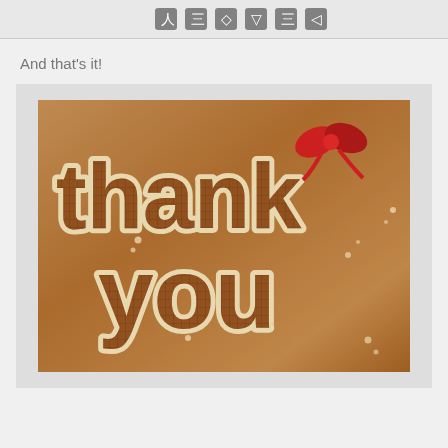[Figure (screenshot): Top strip showing partial screenshot of a toolbar or UI element with icons]
And that’s it!
[Figure (photo): Decorative 'thank you' image with chocolate-textured letters on a kraft paper background, with a red bow accent on the letter k]